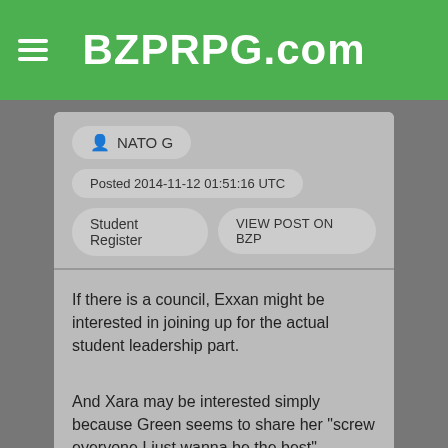BZPRPG.com
NATO G
Posted 2014-11-12 01:51:16 UTC
Student Register
VIEW POST ON BZP
If there is a council, Exxan might be interested in joining up for the actual student leadership part.
And Xara may be interested simply because Green seems to share her "screw everyone I just wanna be the best" attitude.